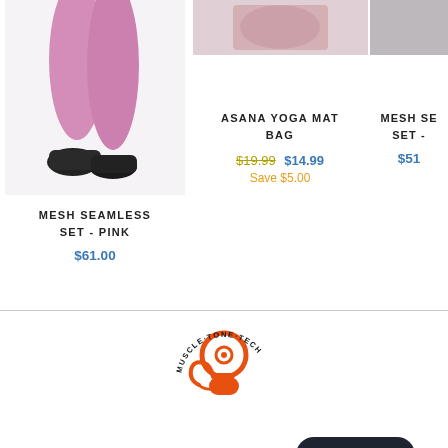[Figure (photo): Product photo: woman's legs wearing pink leggings and black shoes, partial view]
MESH SEAMLESS SET - PINK
$61.00
[Figure (photo): Product photo: Asana Yoga Mat Bag, partial top view]
ASANA YOGA MAT BAG
$19.99  $14.99  Save $5.00
[Figure (photo): Product photo: Mesh Seamless Set, partial view, cropped on right edge]
MESH SE... SET -
$51
[Figure (logo): Muscle-Tone-Tech logo: orange kettlebell with muscular arm design and circular text]
CUSTOMER CARE
Chat with us